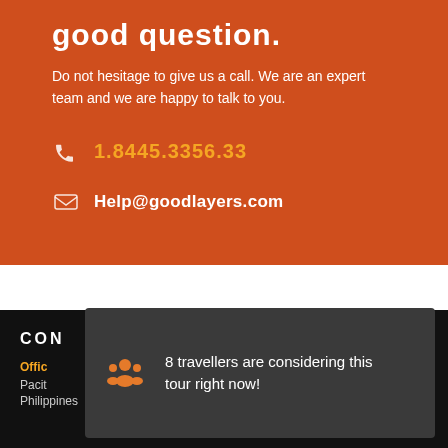good question.
Do not hesitage to give us a call. We are an expert team and we are happy to talk to you.
1.8445.3356.33
Help@goodlayers.com
CON
Office
Pacit
Philippines
8 travellers are considering this tour right now!